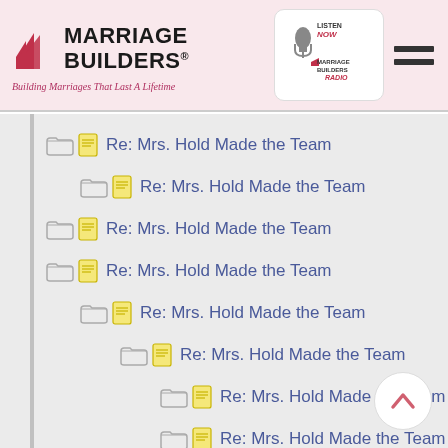Marriage Builders — Building Marriages That Last A Lifetime
Re: Mrs. Hold Made the Team
Re: Mrs. Hold Made the Team
Re: Mrs. Hold Made the Team
Re: Mrs. Hold Made the Team
Re: Mrs. Hold Made the Team
Re: Mrs. Hold Made the Team
Re: Mrs. Hold Made the Team
Re: Mrs. Hold Made the Team